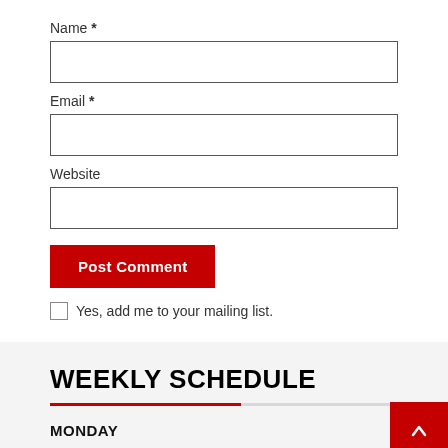Name *
Email *
Website
Post Comment
Yes, add me to your mailing list.
WEEKLY SCHEDULE
MONDAY
Matter of Facts Podcast